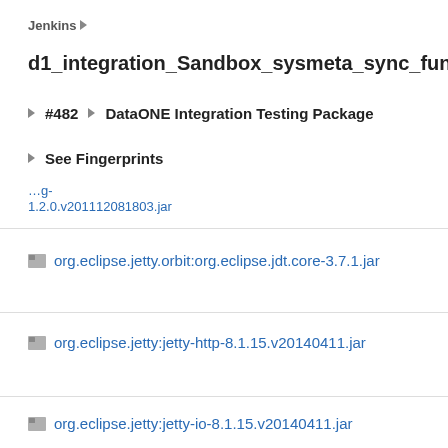Jenkins ▶
d1_integration_Sandbox_sysmeta_sync_functional
▶ #482 ▶ DataONE Integration Testing Package
▶ See Fingerprints
1.2.0.v201112081803.jar
org.eclipse.jetty.orbit:org.eclipse.jdt.core-3.7.1.jar
org.eclipse.jetty:jetty-http-8.1.15.v20140411.jar
org.eclipse.jetty:jetty-io-8.1.15.v20140411.jar